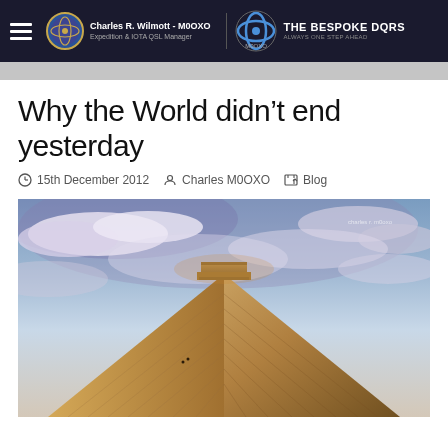Charles R. Wilmott - M0OXO | Expedition & IOTA QSL Manager | THE BESPOKE DQRS
Why the World didn't end yesterday
15th December 2012  Charles M0OXO  Blog
[Figure (photo): Photograph of the top of a Mayan pyramid (Chichen Itza) shot from below against a dramatic blue sky with clouds]